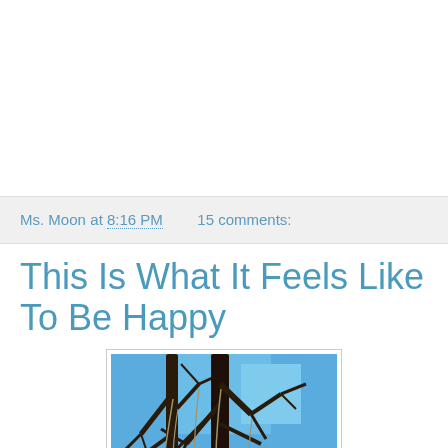Ms. Moon at 8:16 PM   15 comments:
This Is What It Feels Like To Be Happy
[Figure (photo): Photograph looking up at bare tree branches with Spanish moss against a bright blue sky, with green foliage visible at the bottom edges]